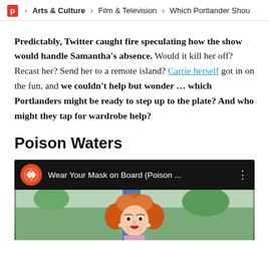P > Arts & Culture > Film & Television > Which Portlander Shou
Predictably, Twitter caught fire speculating how the show would handle Samantha's absence. Would it kill her off? Recast her? Send her to a remote island? Carrie herself got in on the fun, and we couldn't help but wonder … which Portlanders might be ready to step up to the plate? And who might they tap for wardrobe help?
Poison Waters
[Figure (screenshot): YouTube video thumbnail showing 'Wear Your Mask on Board (Poison ...' with a drag performer with red/orange curly hair outdoors]